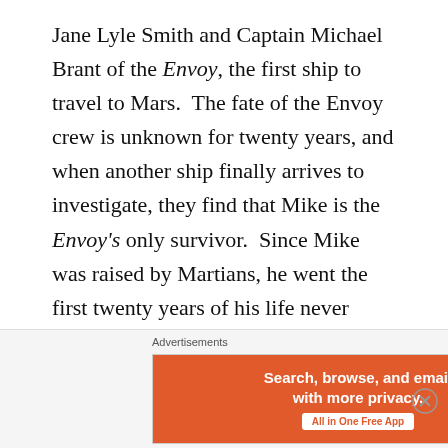Jane Lyle Smith and Captain Michael Brant of the Envoy, the first ship to travel to Mars.  The fate of the Envoy crew is unknown for twenty years, and when another ship finally arrives to investigate, they find that Mike is the Envoy's only survivor.  Since Mike was raised by Martians, he went the first twenty years of his life never seeing any other human, and he spoke and thought in Martian at the beginning of the story.  Michael Smith is an incredibly intelligent character, and it didn't take him long to pick up most of the language, but the first two thirds of the novel deal with his adaptation to a completely alien culture-
Advertisements
[Figure (other): DuckDuckGo advertisement banner with orange left section reading 'Search, browse, and email with more privacy. All in One Free App' and dark right section with DuckDuckGo logo and text.]